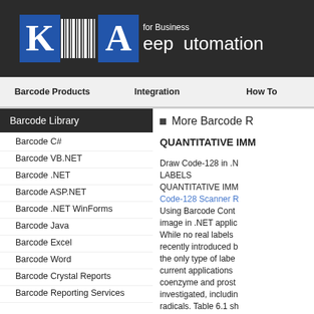Keep Automation for Business
Barcode Products | Integration | How To
Barcode Library
Barcode C#
Barcode VB.NET
Barcode .NET
Barcode ASP.NET
Barcode .NET WinForms
Barcode Java
Barcode Excel
Barcode Word
Barcode Crystal Reports
Barcode Reporting Services
More Barcode R
QUANTITATIVE IMM
Draw Code-128 in .N LABELS QUANTITATIVE IMM Code-128 Scanner R Using Barcode Cont image in .NET applic While no real labels recently introduced b the only type of labe current applications coenzyme and prost investigated, includin radicals. Table 6.1 sh